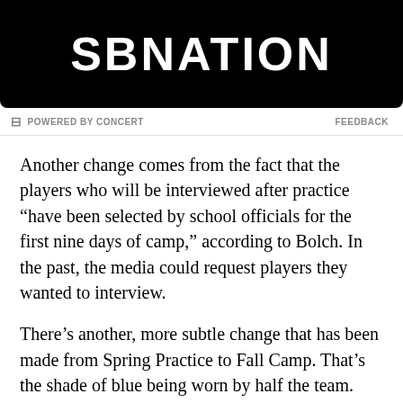[Figure (logo): SBNation logo on black background banner]
⊟ POWERED BY CONCERT    FEEDBACK
Another change comes from the fact that the players who will be interviewed after practice “have been selected by school officials for the first nine days of camp,” according to Bolch. In the past, the media could request players they wanted to interview.
There’s another, more subtle change that has been made from Spring Practice to Fall Camp. That’s the shade of blue being worn by half the team. Instead of the royal blue practice jerseys we’ve been used to over the years, half the team is now sporting a lighter shade of blue which more closely resembles the powderkeg blue that the team wears for home games.